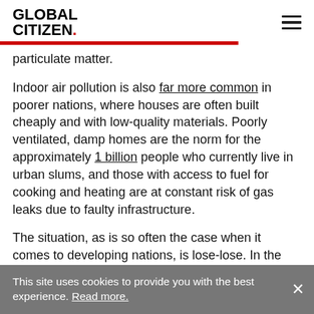GLOBAL CITIZEN.
particulate matter.
Indoor air pollution is also far more common in poorer nations, where houses are often built cheaply and with low-quality materials. Poorly ventilated, damp homes are the norm for the approximately 1 billion people who currently live in urban slums, and those with access to fuel for cooking and heating are at constant risk of gas leaks due to faulty infrastructure.
The situation, as is so often the case when it comes to developing nations, is lose-lose. In the
This site uses cookies to provide you with the best experience. Read more.